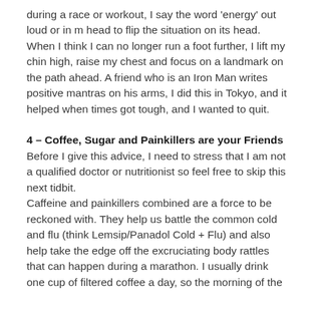during a race or workout, I say the word 'energy' out loud or in m head to flip the situation on its head. When I think I can no longer run a foot further, I lift my chin high, raise my chest and focus on a landmark on the path ahead. A friend who is an Iron Man writes positive mantras on his arms, I did this in Tokyo, and it helped when times got tough, and I wanted to quit.
4 – Coffee, Sugar and Painkillers are your Friends
Before I give this advice, I need to stress that I am not a qualified doctor or nutritionist so feel free to skip this next tidbit.
Caffeine and painkillers combined are a force to be reckoned with. They help us battle the common cold and flu (think Lemsip/Panadol Cold + Flu) and also help take the edge off the excruciating body rattles that can happen during a marathon. I usually drink one cup of filtered coffee a day, so the morning of the